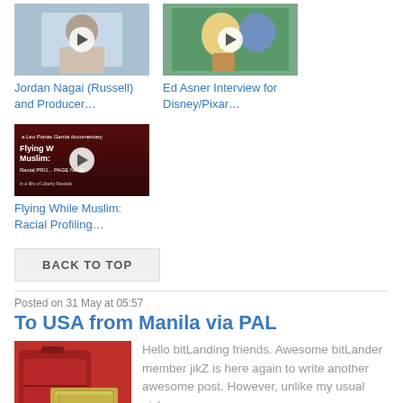[Figure (screenshot): Video thumbnail with play button - person in blue shirt at microphone]
Jordan Nagai (Russell) and Producer…
[Figure (screenshot): Video thumbnail with play button - animated characters from Pixar Up movie]
Ed Asner Interview for Disney/Pixar…
[Figure (screenshot): Video thumbnail with play button - dark red background with Flying While Muslim documentary title]
Flying While Muslim: Racial Profiling…
BACK TO TOP
Posted on 31 May at 05:57
To USA from Manila via PAL
[Figure (photo): Red luggage with US dollar bills fanned out on top]
Hello bitLanding friends. Awesome bitLander member jikZ is here again to write another awesome post. However, unlike my usual niche……